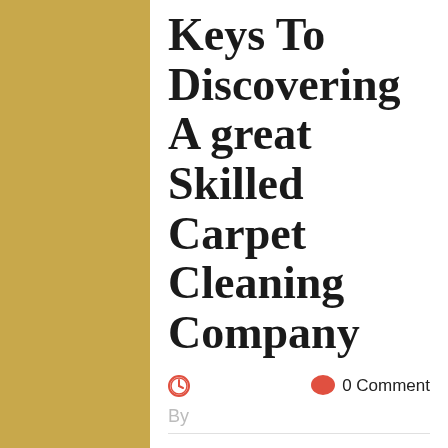Keys To Discovering A great Skilled Carpet Cleaning Company
0 Comment
By
[Figure (other): Broken image placeholder icon]
In Want Of